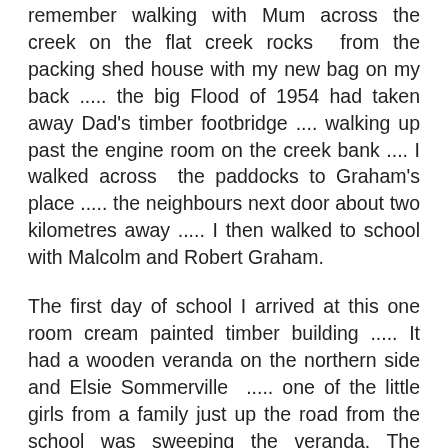remember walking with Mum across the creek on the flat creek rocks  from the packing shed house with my new bag on my back ..... the big Flood of 1954 had taken away Dad's timber footbridge .... walking up past the engine room on the creek bank .... I walked across  the paddocks to Graham's place ..... the neighbours next door about two kilometres away ..... I then walked to school with Malcolm and Robert Graham.
The first day of school I arrived at this one room cream painted timber building ..... It had a wooden veranda on the northern side and Elsie Sommerville  ..... one of the little girls from a family just up the road from the school was sweeping the veranda. The school had one teacher Mr. Long and about twenty students. The School House was simple affair which had built in 1908. There was also a weatherboard shed for keeping out of the